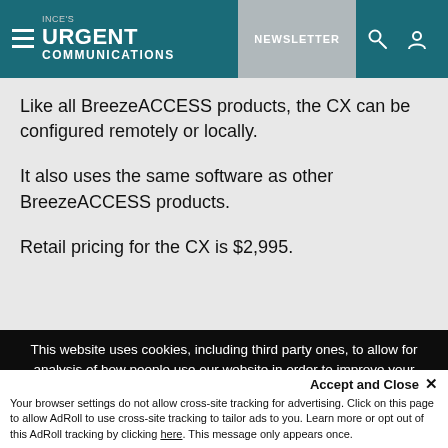INCE's URGENT COMMUNICATIONS | NEWSLETTER
Like all BreezeACCESS products, the CX can be configured remotely or locally.
It also uses the same software as other BreezeACCESS products.
Retail pricing for the CX is $2,995.
This website uses cookies, including third party ones, to allow for analysis of how people use our website in order to improve your experience and our services. By continuing to use our website, you agree to the use of such cookies. Click here for more information on our Cookie Policy and Privacy Policy
Accept and Close ✕
Your browser settings do not allow cross-site tracking for advertising. Click on this page to allow AdRoll to use cross-site tracking to tailor ads to you. Learn more or opt out of this AdRoll tracking by clicking here. This message only appears once.